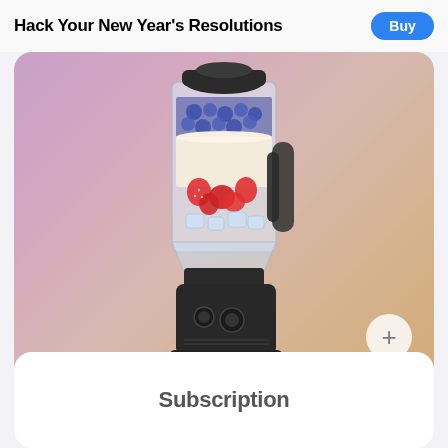Hack Your New Year's Resolutions
Buy
[Figure (illustration): A high-end black blender with a clear jar containing blueberries, strawberries, and ice, displayed on a gradient background from purple-pink on the left to warm gold on the right.]
Subscription